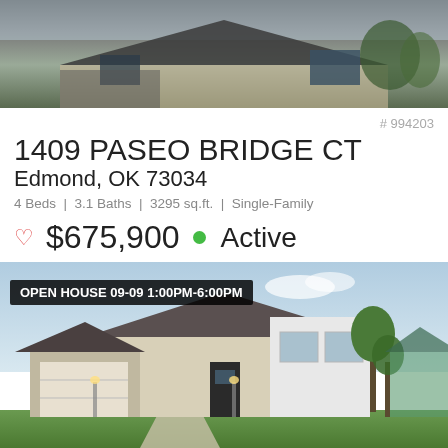[Figure (photo): Exterior photo of house roofline and facade, top portion]
# 994203
1409 PASEO BRIDGE CT
Edmond, OK 73034
4 Beds | 3.1 Baths | 3295 sq.ft. | Single-Family
♡ $675,900 • Active
Listing provided courtesy of Metro First Realty - Don Cashman
[Figure (logo): mlsok logo]
[Figure (photo): Exterior front view of single-family home with open house banner]
OPEN HOUSE 09-09 1:00PM-6:00PM